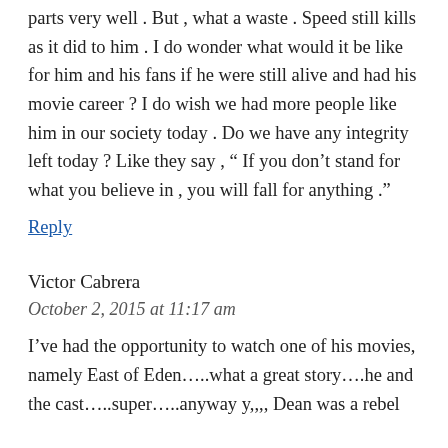parts very well . But , what a waste . Speed still kills as it did to him . I do wonder what would it be like for him and his fans if he were still alive and had his movie career ? I do wish we had more people like him in our society today . Do we have any integrity left today ? Like they say , “ If you don’t stand for what you believe in , you will fall for anything .”
Reply
Victor Cabrera
October 2, 2015 at 11:17 am
I’ve had the opportunity to watch one of his movies, namely East of Eden…..what a great story….he and the cast…..super…..anyway y,,,, Dean was a rebel